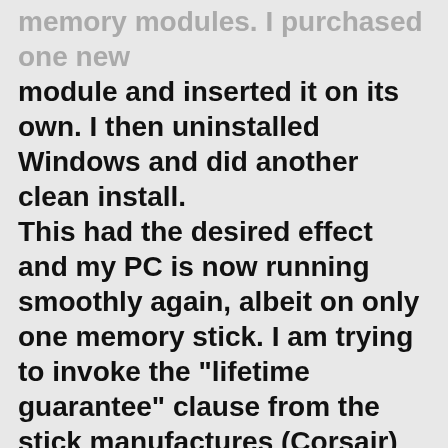memory modules. I purchased one new module and inserted it on its own. I then uninstalled Windows and did another clean install.
This had the desired effect and my PC is now running smoothly again, albeit on only one memory stick. I am trying to invoke the "lifetime guarantee" clause from the stick manufactures (Corsair) but at the moment they are prevaricating.
I just thought that everyone who answered my original question would like to know the result of my endeavours.